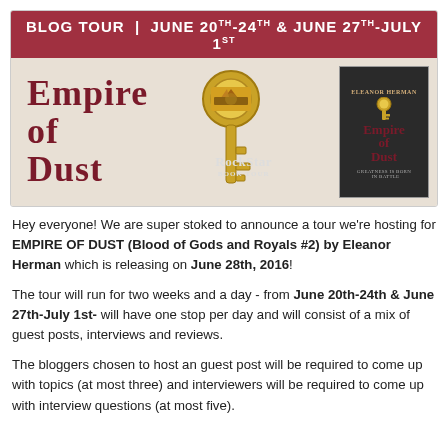[Figure (illustration): Blog tour banner for Empire of Dust by Eleanor Herman. Dark red header reads BLOG TOUR | JUNE 20TH-24TH & JUNE 27TH-JULY 1ST. Main area shows the book title EMPIRE OF DUST in dark red serif letters over a textured background with a golden ornate key in the center. Right side shows the book cover with author name ELEANOR HERMAN and title EMPIRE OF DUST. RockStar Book Tour logo visible.]
Hey everyone! We are super stoked to announce a tour we're hosting for EMPIRE OF DUST (Blood of Gods and Royals #2) by Eleanor Herman which is releasing on June 28th, 2016!
The tour will run for two weeks and a day - from June 20th-24th & June 27th-July 1st- will have one stop per day and will consist of a mix of guest posts, interviews and reviews.
The bloggers chosen to host an guest post will be required to come up with topics (at most three) and interviewers will be required to come up with interview questions (at most five).